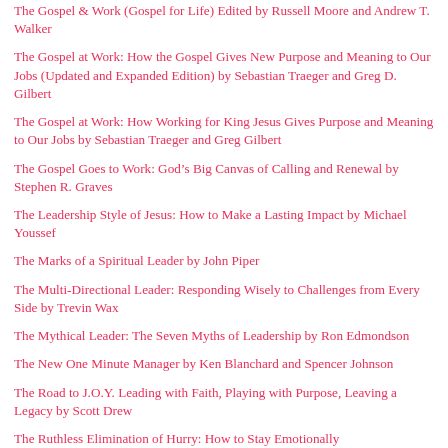The Gospel & Work (Gospel for Life) Edited by Russell Moore and Andrew T. Walker
The Gospel at Work: How the Gospel Gives New Purpose and Meaning to Our Jobs (Updated and Expanded Edition) by Sebastian Traeger and Greg D. Gilbert
The Gospel at Work: How Working for King Jesus Gives Purpose and Meaning to Our Jobs by Sebastian Traeger and Greg Gilbert
The Gospel Goes to Work: God’s Big Canvas of Calling and Renewal by Stephen R. Graves
The Leadership Style of Jesus: How to Make a Lasting Impact by Michael Youssef
The Marks of a Spiritual Leader by John Piper
The Multi-Directional Leader: Responding Wisely to Challenges from Every Side by Trevin Wax
The Mythical Leader: The Seven Myths of Leadership by Ron Edmondson
The New One Minute Manager by Ken Blanchard and Spencer Johnson
The Road to J.O.Y. Leading with Faith, Playing with Purpose, Leaving a Legacy by Scott Drew
The Ruthless Elimination of Hurry: How to Stay Emotionally…